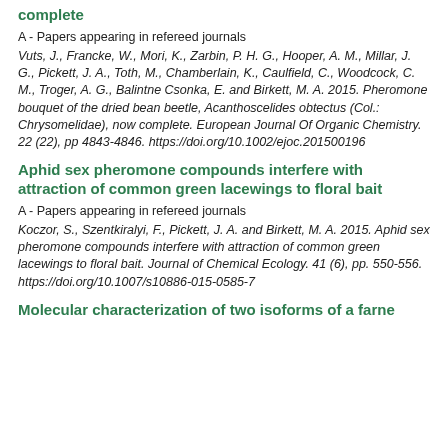complete
A - Papers appearing in refereed journals
Vuts, J., Francke, W., Mori, K., Zarbin, P. H. G., Hooper, A. M., Millar, J. G., Pickett, J. A., Toth, M., Chamberlain, K., Caulfield, C., Woodcock, C. M., Troger, A. G., Balintne Csonka, E. and Birkett, M. A. 2015. Pheromone bouquet of the dried bean beetle, Acanthoscelides obtectus (Col.: Chrysomelidae), now complete. European Journal Of Organic Chemistry. 22 (22), pp 4843-4846. https://doi.org/10.1002/ejoc.201500196
Aphid sex pheromone compounds interfere with attraction of common green lacewings to floral bait
A - Papers appearing in refereed journals
Koczor, S., Szentkiralyi, F., Pickett, J. A. and Birkett, M. A. 2015. Aphid sex pheromone compounds interfere with attraction of common green lacewings to floral bait. Journal of Chemical Ecology. 41 (6), pp. 550-556. https://doi.org/10.1007/s10886-015-0585-7
Molecular characterization of two isoforms of a farne...